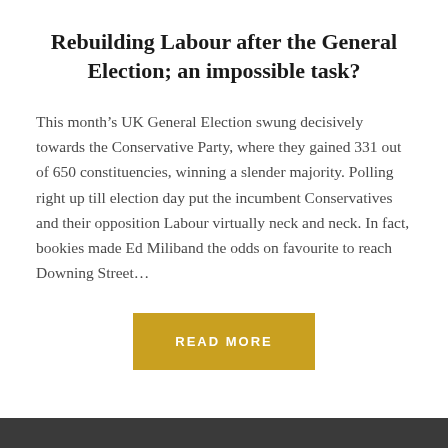Rebuilding Labour after the General Election; an impossible task?
This month's UK General Election swung decisively towards the Conservative Party, where they gained 331 out of 650 constituencies, winning a slender majority. Polling right up till election day put the incumbent Conservatives and their opposition Labour virtually neck and neck. In fact, bookies made Ed Miliband the odds on favourite to reach Downing Street...
READ MORE